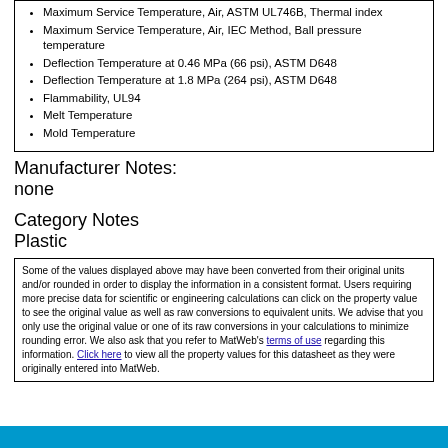Maximum Service Temperature, Air, ASTM UL746B, Thermal index
Maximum Service Temperature, Air, IEC Method, Ball pressure temperature
Deflection Temperature at 0.46 MPa (66 psi), ASTM D648
Deflection Temperature at 1.8 MPa (264 psi), ASTM D648
Flammability, UL94
Melt Temperature
Mold Temperature
Manufacturer Notes:
none
Category Notes
Plastic
Some of the values displayed above may have been converted from their original units and/or rounded in order to display the information in a consistent format. Users requiring more precise data for scientific or engineering calculations can click on the property value to see the original value as well as raw conversions to equivalent units. We advise that you only use the original value or one of its raw conversions in your calculations to minimize rounding error. We also ask that you refer to MatWeb's terms of use regarding this information. Click here to view all the property values for this datasheet as they were originally entered into MatWeb.